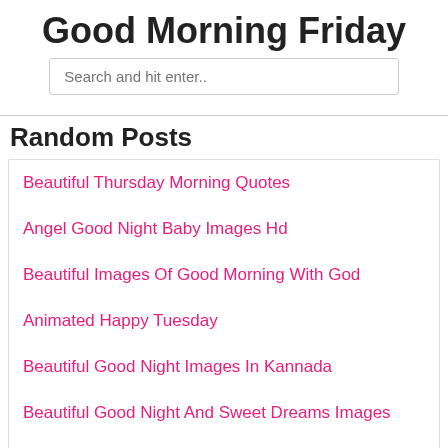Good Morning Friday
Search and hit enter..
Random Posts
Beautiful Thursday Morning Quotes
Angel Good Night Baby Images Hd
Beautiful Images Of Good Morning With God
Animated Happy Tuesday
Beautiful Good Night Images In Kannada
Beautiful Good Night And Sweet Dreams Images
Assamese Good Morning Shayari
Beautiful Love Good Night Images
Beautiful Good Night Images With Quotes